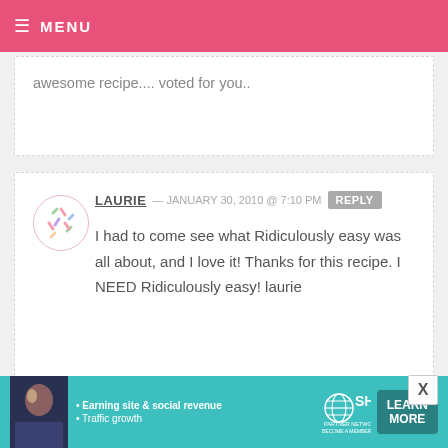MENU
awesome recipe.... voted for you..
LAURIE — JANUARY 30, 2010 @ 7:10 PM REPLY
I had to come see what Ridiculously easy was all about, and I love it! Thanks for this recipe. I NEED Ridiculously easy! laurie
JILLIAN CACIOPPO — JANUARY 30, 2010 @ 5:47 PM REPLY
[Figure (infographic): SHE Partner Network advertisement banner with teal background. Includes bullet points: Earning site & social revenue, Traffic growth. SHE logo and LEARN MORE button.]